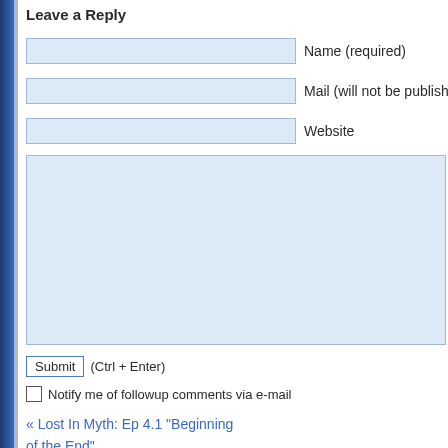Leave a Reply
Name (required)
Mail (will not be published) (requir…)
Website
Submit (Ctrl + Enter)
Notify me of followup comments via e-mail
« Lost In Myth: Ep 4.1 "Beginning of the End"